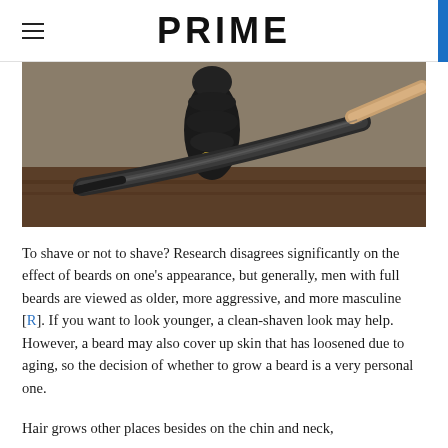PRIME
[Figure (photo): Close-up photograph of a black straight razor (cut-throat razor) with a black handle, lying on a wooden surface. The blade is folded partially open, showing the dark steel blade with gold detailing near the pivot.]
To shave or not to shave? Research disagrees significantly on the effect of beards on one's appearance, but generally, men with full beards are viewed as older, more aggressive, and more masculine [R]. If you want to look younger, a clean-shaven look may help. However, a beard may also cover up skin that has loosened due to aging, so the decision of whether to grow a beard is a very personal one.
Hair grows other places besides on the chin and neck,